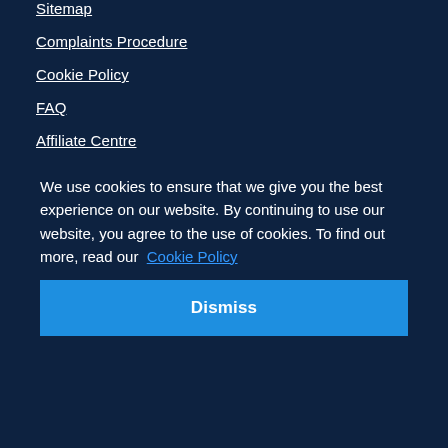Sitemap
Complaints Procedure
Cookie Policy
FAQ
Affiliate Centre
We use cookies to ensure that we give you the best experience on our website. By continuing to use our website, you agree to the use of cookies. To find out more, read our Cookie Policy
Dismiss